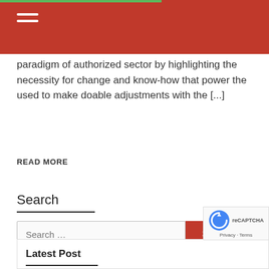paradigm of authorized sector by highlighting the necessity for change and know-how that power the used to make doable adjustments with the [...]
READ MORE
Search
Search ...
Latest Post